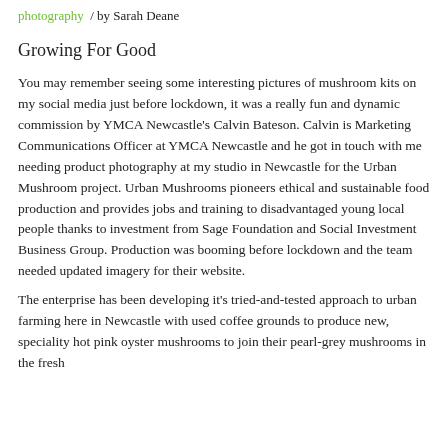photography / by Sarah Deane
Growing For Good
You may remember seeing some interesting pictures of mushroom kits on my social media just before lockdown, it was a really fun and dynamic commission by YMCA Newcastle's Calvin Bateson. Calvin is Marketing Communications Officer at YMCA Newcastle and he got in touch with me needing product photography at my studio in Newcastle for the Urban Mushroom project. Urban Mushrooms pioneers ethical and sustainable food production and provides jobs and training to disadvantaged young local people thanks to investment from Sage Foundation and Social Investment Business Group. Production was booming before lockdown and the team needed updated imagery for their website.
The enterprise has been developing it's tried-and-tested approach to urban farming here in Newcastle with used coffee grounds to produce new, speciality hot pink oyster mushrooms to join their pearl-grey mushrooms in the fresh